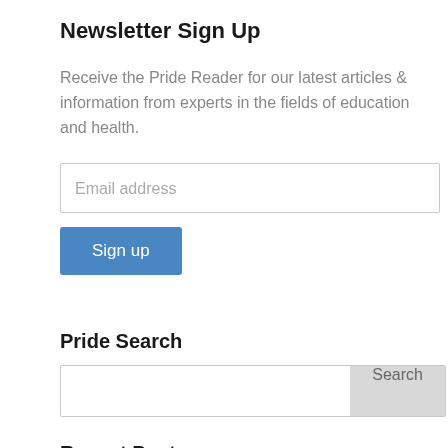Newsletter Sign Up
Receive the Pride Reader for our latest articles & information from experts in the fields of education and health.
[Figure (other): Email address input field with placeholder text 'Email address']
[Figure (other): Blue 'Sign up' button]
Pride Search
[Figure (other): Search bar with text input and grey 'Search' button]
Recent Posts
Has My Child Reached the Reading Benchmarks for Kindergarten?